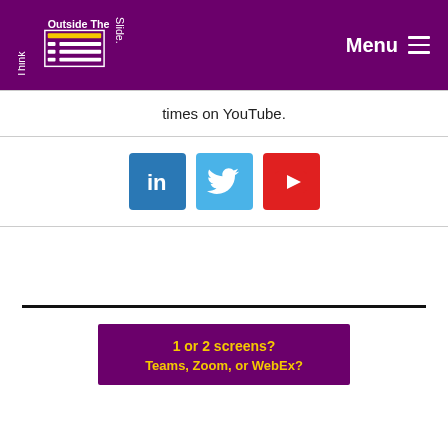Think Outside The Slide — Menu
times on YouTube.
[Figure (other): Three social media icons: LinkedIn (blue), Twitter (light blue), YouTube (red)]
1 or 2 screens?
Teams, Zoom, or WebEx?